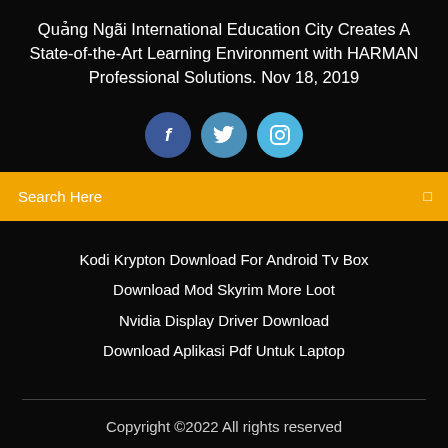Quảng Ngãi International Education City Creates A State-of-the-Art Learning Environment with HARMAN Professional Solutions. Nov 18, 2019
[Figure (infographic): Three social media icon circles: Facebook (dark blue), Twitter (medium blue), Instagram (light blue)]
Search Here
Kodi Krypton Download For Android Tv Box
Download Mod Skyrim More Loot
Nvidia Display Driver Download
Download Aplikasi Pdf Untuk Laptop
Copyright ©2022 All rights reserved